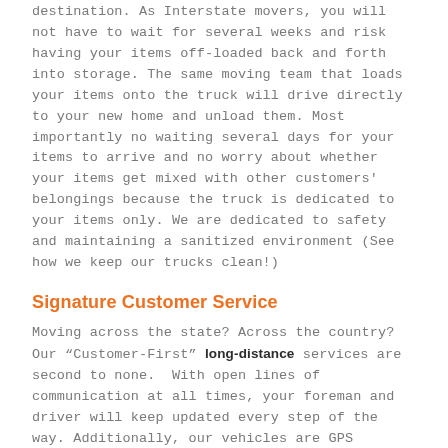destination. As Interstate movers, you will not have to wait for several weeks and risk having your items off-loaded back and forth into storage. The same moving team that loads your items onto the truck will drive directly to your new home and unload them. Most importantly no waiting several days for your items to arrive and no worry about whether your items get mixed with other customers' belongings because the truck is dedicated to your items only. We are dedicated to safety and maintaining a sanitized environment (See how we keep our trucks clean!)
Signature Customer Service
Moving across the state? Across the country? Our “Customer-First” long-distance services are second to none.  With open lines of communication at all times, your foreman and driver will keep updated every step of the way. Additionally, our vehicles are GPS